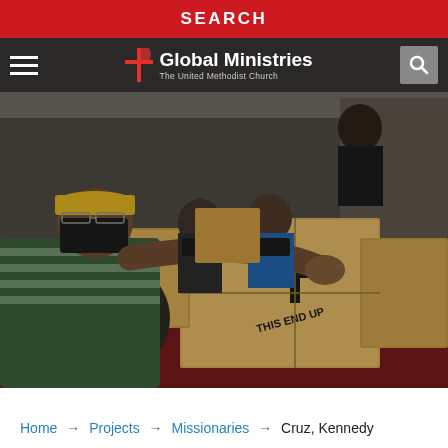SEARCH
[Figure (screenshot): Global Ministries - The United Methodist Church website header with hamburger menu, cross logo, site title, and search icon, overlaid on a photograph of volunteers wearing masks unloading cardboard boxes labeled THIS END UP from a red truck during COVID-19 relief efforts]
Home → Projects → Missionaries → Cruz, Kennedy